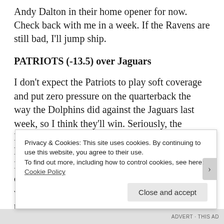Andy Dalton in their home opener for now. Check back with me in a week. If the Ravens are still bad, I'll jump ship.
PATRIOTS (-13.5) over Jaguars
I don't expect the Patriots to play soft coverage and put zero pressure on the quarterback the way the Dolphins did against the Jaguars last week, so I think they'll win. Seriously, the Dolphins had such a terrible defensive scheme last week they made Blake Bortles look like an NFL quarterback. He had time, he was comfortable, and he could make throws. That won't be the case this week. And Tom Brady is playing the best football of his career, and he's 38 YEARS OLD! His F-U tour continues
Privacy & Cookies: This site uses cookies. By continuing to use this website, you agree to their use.
To find out more, including how to control cookies, see here: Cookie Policy
Close and accept